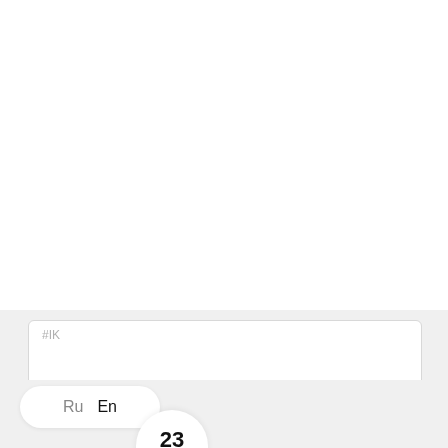We use cookies
By pressing Accept, you agree to our use of such instruments for analysis and user support.
Accept
#IK
Ru  En
23